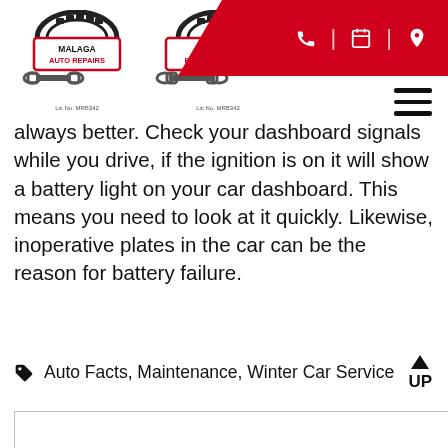[Figure (logo): Malaga Auto Repairs logo with wrench and tire graphic, Lic No. MRB342]
[Figure (logo): Malaga Brake & Clutch logo with wrench and tire graphic, Lic No. MRB342]
always better. Check your dashboard signals while you drive, if the ignition is on it will show a battery light on your car dashboard. This means you need to look at it quickly. Likewise, inoperative plates in the car can be the reason for battery failure.
Auto Facts, Maintenance, Winter Car Service
UP